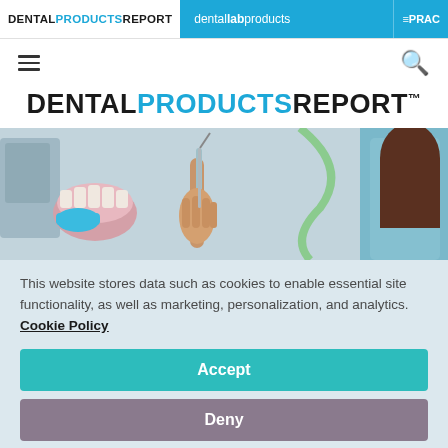DENTAL PRODUCTS REPORT | dental lab products | PRAC
[Figure (logo): Dental Products Report logo - top navigation bar with blue background showing dental lab products and PRAC links]
[Figure (screenshot): Navigation menu bar with hamburger menu icon on left and search icon on right]
DENTAL PRODUCTS REPORT
[Figure (photo): Dental professional using a dental instrument on a mold/model, with dental equipment visible in background]
This website stores data such as cookies to enable essential site functionality, as well as marketing, personalization, and analytics. Cookie Policy
Accept
Deny